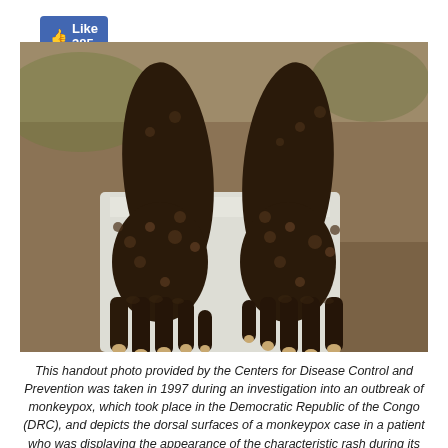[Figure (other): Facebook Like button showing 385 likes]
[Figure (photo): Handout photo from the Centers for Disease Control and Prevention showing the dorsal surfaces of a person's hands displaying the characteristic rash of monkeypox during its recuperative stage. Photo taken in 1997 during an investigation into an outbreak of monkeypox in the Democratic Republic of the Congo (DRC).]
This handout photo provided by the Centers for Disease Control and Prevention was taken in 1997 during an investigation into an outbreak of monkeypox, which took place in the Democratic Republic of the Congo (DRC), and depicts the dorsal surfaces of a monkeypox case in a patient who was displaying the appearance of the characteristic rash during its recuperative